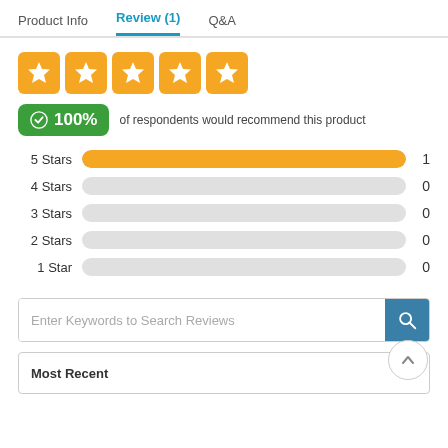Product Info | Review (1) | Q&A
[Figure (other): Five orange star rating boxes displayed in a row]
100% of respondents would recommend this product
[Figure (bar-chart): Star rating distribution]
Enter Keywords to Search Reviews
Most Recent